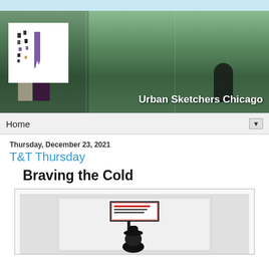[Figure (photo): Urban Sketchers Chicago website header banner showing people sketching outdoors in a park with greenery and a logo on the left]
Home
Thursday, December 23, 2021
T&T Thursday
Braving the Cold
[Figure (illustration): A sketch illustration showing a person in a hat standing near a street sign or notice board post, done in ink/watercolor style]